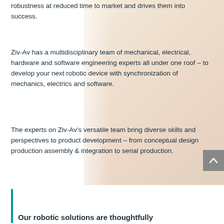robustness at reduced time to market and drives them into success.
Ziv-Av has a multidisciplinary team of mechanical, electrical, hardware and software engineering experts all under one roof – to develop your next robotic device with synchronization of mechanics, electrics and software.
The experts on Ziv-Av's versatile team bring diverse skills and perspectives to product development – from conceptual design production assembly & integration to serial production.
[Figure (photo): Faded background photo of robotic/industrial assembly, visible on the right side of the page]
Our robotic solutions are thoughtfully